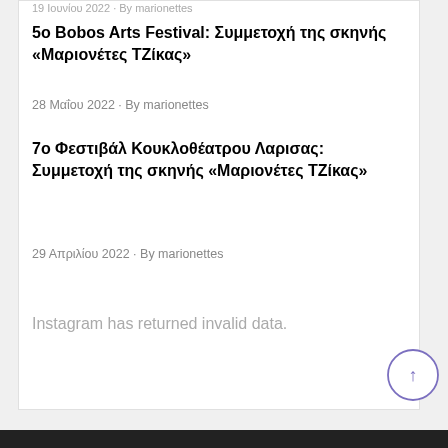19 Ιουνίου 2022  -  By marionettes
5ο Bobos Arts Festival: Συμμετοχή της σκηνής «Μαριονέτες ΤΖίκας»
28 Μαΐου 2022  -  By marionettes
7ο Φεστιβάλ Κουκλοθέατρου Λαρισας: Συμμετοχή της σκηνής «Μαριονέτες ΤΖίκας»
29 Απριλίου 2022  -  By marionettes
Instagram has returned invalid data.